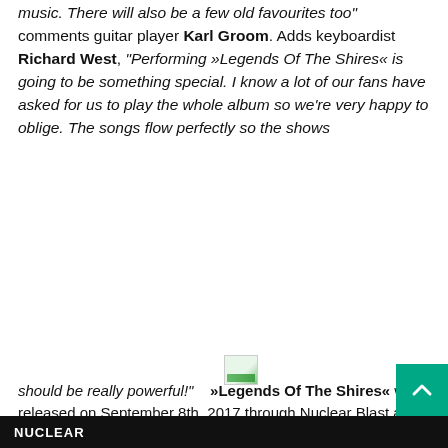music. There will also be a few old favourites too" comments guitar player Karl Groom. Adds keyboardist Richard West, "Performing »Legends Of The Shires« is going to be something special. I know a lot of our fans have asked for us to play the whole album so we're very happy to oblige. The songs flow perfectly so the shows
[Figure (illustration): Small broken image icon placeholder]
should be really powerful!" »Legends Of The Shires« was released on September 8th, 2017 through Nuclear Blast and is the band's most successful album to date (#13 Germany, #14 Switzerland, #31 Austria a.o.). It was followed by a rhapsodic 2-week European headline tour in late 2017 that included several sold out shows. Order »Legends Of The Shires« now, here: http://nblast.de/ThresholdLOTSNB Order »Legends Of The Shires« digitally, here: http://nblast.de/ThresholdDigital
NUCLEAR